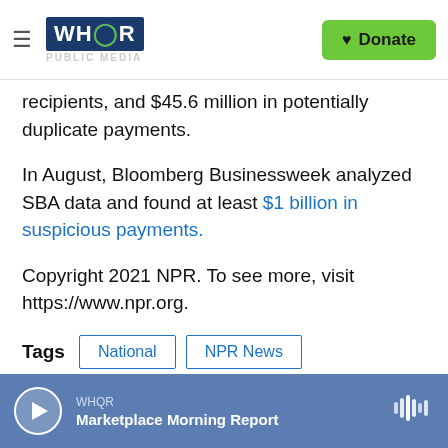WHQR PUBLIC MEDIA | Donate
recipients, and $45.6 million in potentially duplicate payments.
In August, Bloomberg Businessweek analyzed SBA data and found at least $1 billion in suspicious payments.
Copyright 2021 NPR. To see more, visit https://www.npr.org.
Tags  National  NPR News
WHQR  Marketplace Morning Report